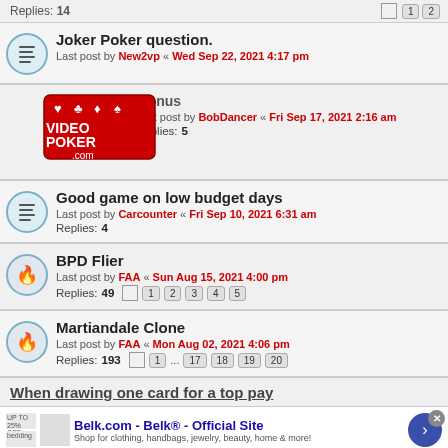Replies: 14  [1] [2]
Joker Poker question. Last post by New2vp « Wed Sep 22, 2021 4:17 pm
[Figure (logo): VideoPoker.com logo overlay]
...[Royal Flush Bonus] Last post by BobDancer « Fri Sep 17, 2021 2:16 am Replies: 5
Good game on low budget days Last post by Carcounter « Fri Sep 10, 2021 6:31 am Replies: 4
BPD Flier Last post by FAA « Sun Aug 15, 2021 4:00 pm Replies: 49 [1][2][3][4][5]
Martiandale Clone Last post by FAA « Mon Aug 02, 2021 4:06 pm Replies: 193 [1]...[17][18][19][20]
When drawing one card for a top pay
Belk.com - Belk® - Official Site  Shop for clothing, handbags, jewelry, beauty, home & more!
This site uses cookies for personalized content and analytics. By continuing to use this site, you agree to this use. Close